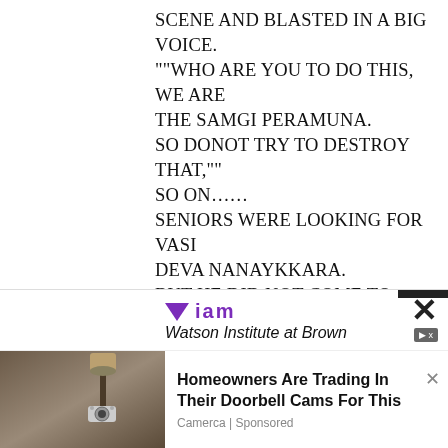SCENE AND BLASTED IN A BIG VOICE. ""WHO ARE YOU TO DO THIS, WE ARE THE SAMGI PERAMUNA. SO DONOT TRY TO DESTROY THAT,"" SO ON…… SENIORS WERE LOOKING FOR VASI DEVA NANAYKKARA. BUT HE DID NOT COME TO THE RESCUE OF SENIOR STUDENTS. FROM THAT DAY WE KNEW THIS PERSON IS ANOTHER VAAASI DEVA.
[Figure (screenshot): Advertisement banner with Viam logo and Watson Institute at Brown text, with a close X button and ad control icons]
[Figure (screenshot): Bottom advertisement: photo of a house with a security camera lamp, headline 'Homeowners Are Trading In Their Doorbell Cams For This', source 'Camerca | Sponsored', with a close X button]